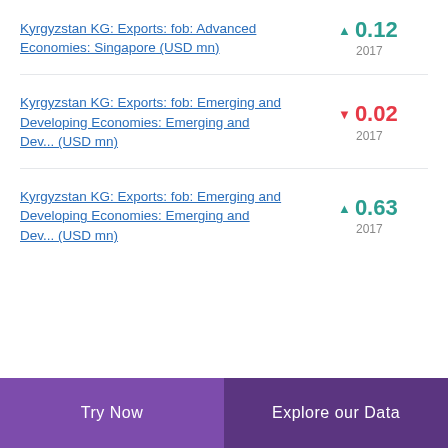Kyrgyzstan KG: Exports: fob: Advanced Economies: Singapore (USD mn)
Kyrgyzstan KG: Exports: fob: Emerging and Developing Economies: Emerging and Dev... (USD mn)
Kyrgyzstan KG: Exports: fob: Emerging and Developing Economies: Emerging and Dev... (USD mn)
Try Now | Explore our Data